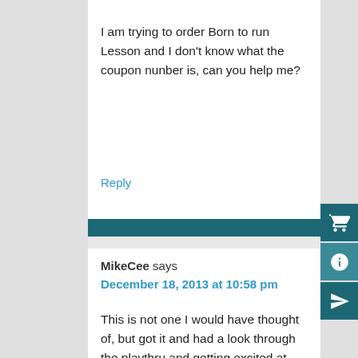I am trying to order Born to run Lesson and I don't know what the coupon nunber is, can you help me?
Reply
MikeCee says
December 18, 2013 at 10:58 pm
This is not one I would have thought of, but got it and had a look through the playthru and getting excited at learning to play this. I can see this being a fun one to learn and be able to play at